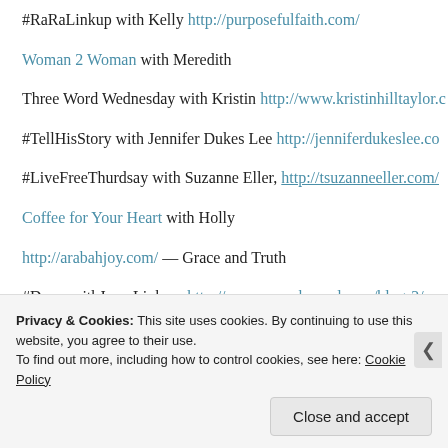#RaRaLinkup with Kelly http://purposefulfaith.com/
Woman 2 Woman with Meredith
Three Word Wednesday with Kristin http://www.kristinhilltaylor.c…
#TellHisStory with Jennifer Dukes Lee http://jenniferdukeslee.co…
#LiveFreeThurdsay with Suzanne Eller, http://tsuzanneeller.com/
Coffee for Your Heart with Holly
http://arabahjoy.com/ — Grace and Truth
#DancewithJesusLinkup, http://www.susanbmead.com/blog-2/
Fellowship Fridays, http://cowinninggodhywomen.com/
Privacy & Cookies: This site uses cookies. By continuing to use this website, you agree to their use. To find out more, including how to control cookies, see here: Cookie Policy
Close and accept